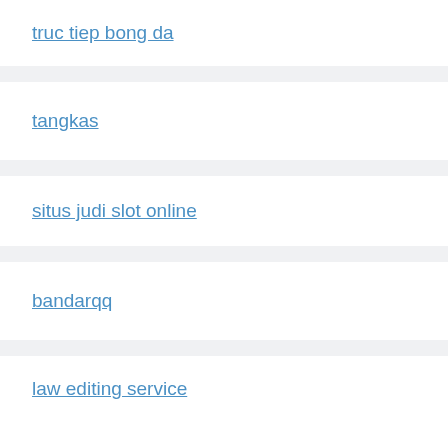truc tiep bong da
tangkas
situs judi slot online
bandarqq
law editing service